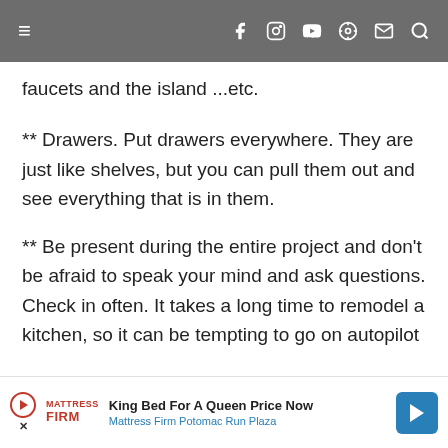≡  f  ⊙  ▶  ⊕  ✉  🔍
faucets and the island ...etc.
** Drawers. Put drawers everywhere. They are just like shelves, but you can pull them out and see everything that is in them.
** Be present during the entire project and don't be afraid to speak your mind and ask questions. Check in often. It takes a long time to remodel a kitchen, so it can be tempting to go on autopilot and hope for the best. But the people working on your
King Bed For A Queen Price Now
Mattress Firm Potomac Run Plaza